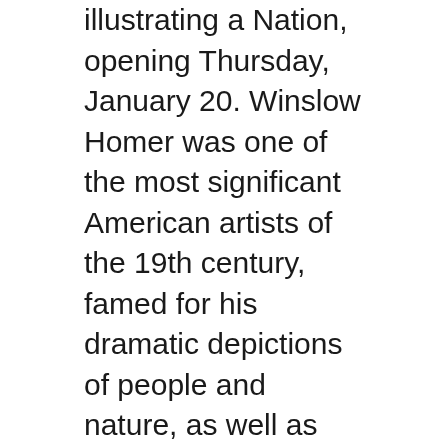illustrating a Nation, opening Thursday, January 20. Winslow Homer was one of the most significant American artists of the 19th century, famed for his dramatic depictions of people and nature, as well as his illustrations of day-to-day life and the battles of the Civil War in Harper's Weekly, a New York City based illustrated magazine that extensively covered the American Civil War.
The exhibition features several of Homer's best known images, including The Noon Recess, Snap the Whip, A Sharpshooter